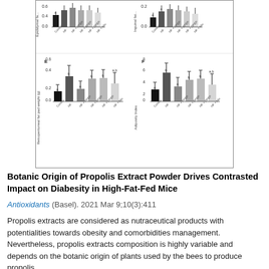[Figure (grouped-bar-chart): Grouped bar charts showing panels E (Retroperitoneal fat pad weight) and F (Adiposity Index) across treatment groups: Control, HF, HF+PPEP, HF+BPEP, HF+DPEP, HF+Mix. Bars show statistical letters a and b for group comparisons. Partial top panels also visible.]
Botanic Origin of Propolis Extract Powder Drives Contrasted Impact on Diabesity in High-Fat-Fed Mice
Antioxidants (Basel). 2021 Mar 9;10(3):411
Propolis extracts are considered as nutraceutical products with potentialities towards obesity and comorbidities management. Nevertheless, propolis extracts composition is highly variable and depends on the botanic origin of plants used by the bees to produce propolis.